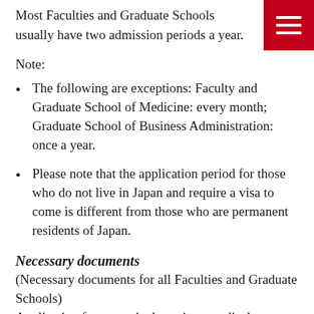Most Faculties and Graduate Schools usually have two admission periods a year.
Note:
The following are exceptions: Faculty and Graduate School of Medicine: every month; Graduate School of Business Administration: once a year.
Please note that the application period for those who do not live in Japan and require a visa to come is different from those who are permanent residents of Japan.
Necessary documents
(Necessary documents for all Faculties and Graduate Schools)
Application form, curriculum vitae, medical